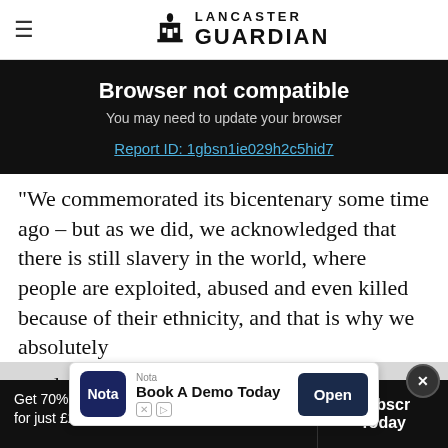Lancaster Guardian
Browser not compatible
You may need to update your browser
Report ID: 1gbsn1ie029h2c5hid7
"We commemorated its bicentenary some time ago – but as we did, we acknowledged that there is still slavery in the world, where people are exploited, abused and even killed because of their ethnicity, and that is why we absolutely need ...est.
[Figure (screenshot): Advertisement banner for Nota app: logo, 'Book A Demo Today', and an Open button]
Get 70% fewer ads. Start your 2-month trial for just £2 per month